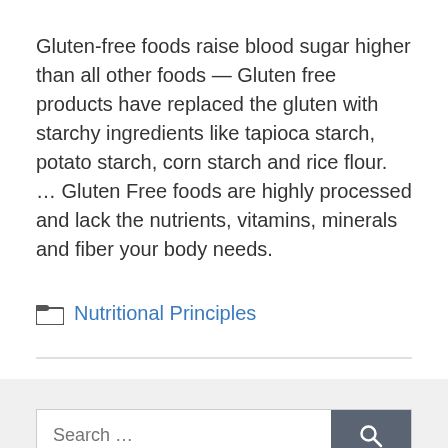Gluten-free foods raise blood sugar higher than all other foods — Gluten free products have replaced the gluten with starchy ingredients like tapioca starch, potato starch, corn starch and rice flour. … Gluten Free foods are highly processed and lack the nutrients, vitamins, minerals and fiber your body needs.
Nutritional Principles
[Figure (other): Search bar with text input field and search button icon]